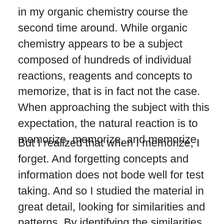in my organic chemistry course the second time around. While organic chemistry appears to be a subject composed of hundreds of individual reactions, reagents and concepts to memorize, that is in fact not the case. When approaching the subject with this expectation, the natural reaction is to memorize, memorize, and memorize.
But I realized that when I memorize, I forget. And forgetting concepts and information does not bode well for test taking. And so I studied the material in great detail, looking for similarities and patterns. By identifying the similarities between reactions, and recognizing the patterns of chemical reactivity, I was able to break down a seemingly complex course into its bare bone basics. Basics that made sense